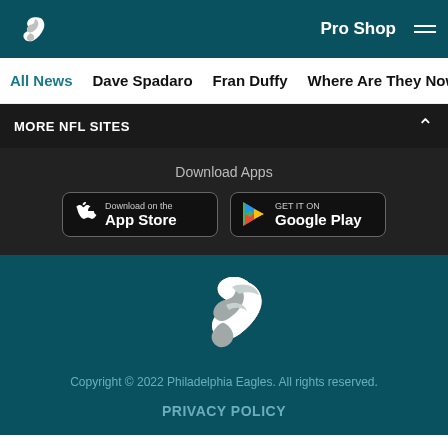[Figure (logo): Philadelphia Eagles logo in white on teal header bar]
Pro Shop
All News  Dave Spadaro  Fran Duffy  Where Are They Now?  Pu
MORE NFL SITES
Download Apps
[Figure (screenshot): Download on the App Store button (black, rounded rectangle)]
[Figure (screenshot): Get it on Google Play button (black, rounded rectangle)]
[Figure (logo): Philadelphia Eagles logo centered on teal background]
Copyright © 2022 Philadelphia Eagles. All rights reserved.
PRIVACY POLICY
[Figure (infographic): Social media icons: Facebook, Twitter, Email, Link (circular outlined icons)]